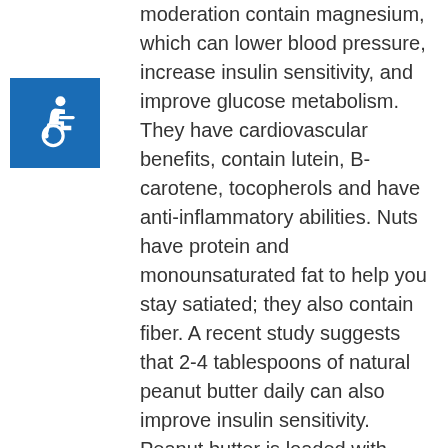[Figure (illustration): Accessibility icon — white wheelchair symbol on a blue square background]
moderation contain magnesium, which can lower blood pressure, increase insulin sensitivity, and improve glucose metabolism. They have cardiovascular benefits, contain lutein, B-carotene, tocopherols and have anti-inflammatory abilities. Nuts have protein and monounsaturated fat to help you stay satiated; they also contain fiber. A recent study suggests that 2-4 tablespoons of natural peanut butter daily can also improve insulin sensitivity. Peanut butter is loaded with calories, so you must factor that into your daily allowance. Leafy greens including spinach, kale, Swiss chard, romaine lettuce and mustard greens contain high amounts of potassium, magnesium, folate and help naturally lower blood pressure. They increase